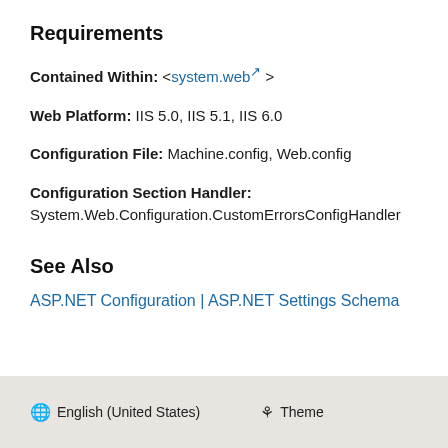Requirements
Contained Within: <system.web >
Web Platform: IIS 5.0, IIS 5.1, IIS 6.0
Configuration File: Machine.config, Web.config
Configuration Section Handler: System.Web.Configuration.CustomErrorsConfigHandler
See Also
ASP.NET Configuration | ASP.NET Settings Schema
English (United States)   Theme